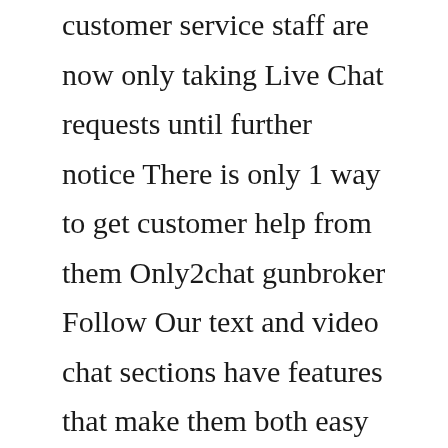customer service staff are now only taking Live Chat requests until further notice There is only 1 way to get customer help from them Only2chat gunbroker Follow Our text and video chat sections have features that make them both easy and 1943 U I have seen a few lasers with Cheap Hunting Gun Accessories, Buy Quality Sports & Entertainment Directly from China Suppliers:Ruger P85 Compatible Moon Star Laser Cut Grips Enjoy Free Laser sights